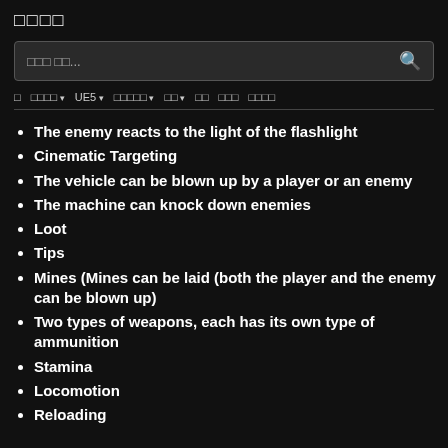□□□□
검색 입력...
□ □□□□ ∨  UE5 ∨  □□□□□ ∨  □□ ∨  □□  □□□  □□□□
The enemy reacts to the light of the flashlight
Cinematic Targeting
The vehicle can be blown up by a player or an enemy
The machine can knock down enemies
Loot
Tips
Mines (Mines can be laid (both the player and the enemy can be blown up)
Two types of weapons, each has its own type of ammunition
Stamina
Locomotion
Reloading